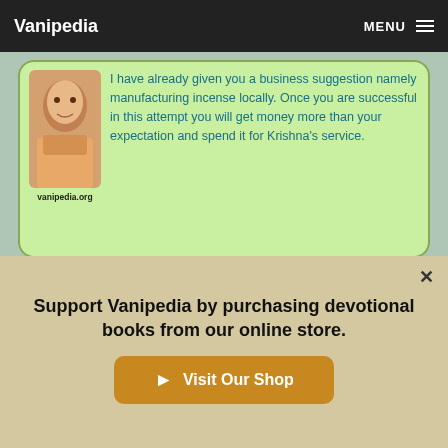Vanipedia | MENU
I have already given you a business suggestion namely manufacturing incense locally. Once you are successful in this attempt you will get money more than your expectation and spend it for Krishna's service.
vanipedia.org
Letter B to Subala written from San Francisco
On the Absolute world there is no such distinction as good or bad. The
Support Vanipedia by purchasing devotional books from our online store.
► Visit Our Shop